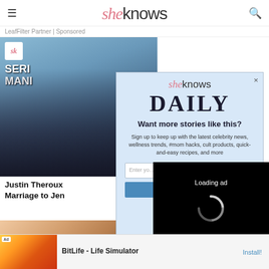sheknows
LeafFilter Partner | Sponsored
[Figure (photo): Photo of Justin Theroux at an event, with 'sk' badge and 'SERIAL MANI...' text overlay]
Justin Theroux
Marriage to Jen
[Figure (screenshot): sheknows Daily modal popup with newsletter signup form: 'Want more stories like this?' and email input]
[Figure (screenshot): Video player overlay showing 'Loading ad' with spinner and playback controls]
[Figure (photo): Lower background photo, peach/warm tones]
[Figure (screenshot): Ad banner: BitLife - Life Simulator with Install button]